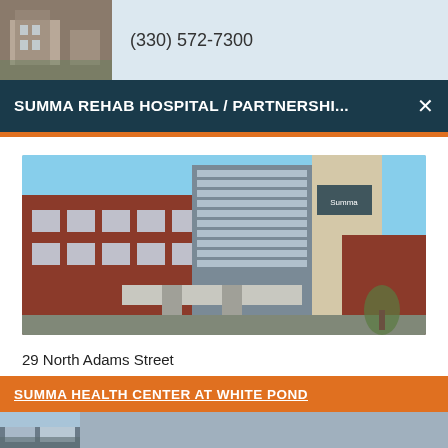(330) 572-7300
SUMMA REHAB HOSPITAL / PARTNERSHI...
[Figure (photo): Exterior photo of Summa Rehab Hospital building - modern brick and glass architecture]
29 North Adams Street
Akron, Ohio 44304-1641
Driving Directions
Main Phone:
330-572-7300
Summa Rehab Hospital Website
SUMMA HEALTH CENTER AT WHITE POND
[Figure (photo): Exterior photo of Summa Health Center at White Pond]